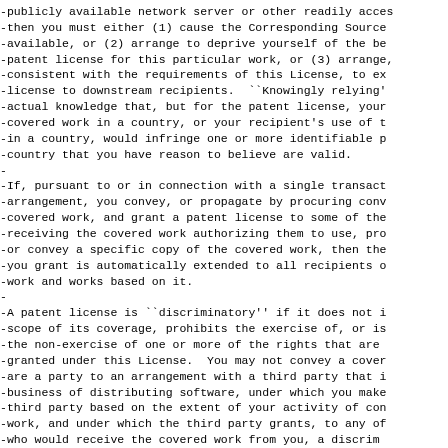-publicly available network server or other readily acces
-then you must either (1) cause the Corresponding Source
-available, or (2) arrange to deprive yourself of the be
-patent license for this particular work, or (3) arrange,
-consistent with the requirements of this License, to ex
-license to downstream recipients.  ``Knowingly relying'
-actual knowledge that, but for the patent license, your
-covered work in a country, or your recipient's use of t
-in a country, would infringe one or more identifiable p
-country that you have reason to believe are valid.
-
-If, pursuant to or in connection with a single transact
-arrangement, you convey, or propagate by procuring conv
-covered work, and grant a patent license to some of the
-receiving the covered work authorizing them to use, pro
-or convey a specific copy of the covered work, then the
-you grant is automatically extended to all recipients o
-work and works based on it.
-
-A patent license is ``discriminatory'' if it does not i
-scope of its coverage, prohibits the exercise of, or is
-the non-exercise of one or more of the rights that are 
-granted under this License.  You may not convey a cover
-are a party to an arrangement with a third party that i
-business of distributing software, under which you make
-third party based on the extent of your activity of con
-work, and under which the third party grants, to any of
-who would receive the covered work from you, a discrim
-license (a) in connection with copies of the covered wo
-you (or copies made from those copies), or (b) primaril